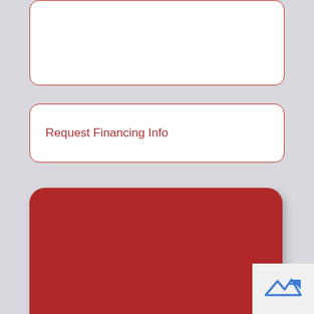[Figure (screenshot): White rounded input text box (empty), top portion visible, with red border on light gray background]
Request Financing Info
SUBMIT
[Figure (logo): Small logo icon with blue arrow/figures on white background in bottom right corner]